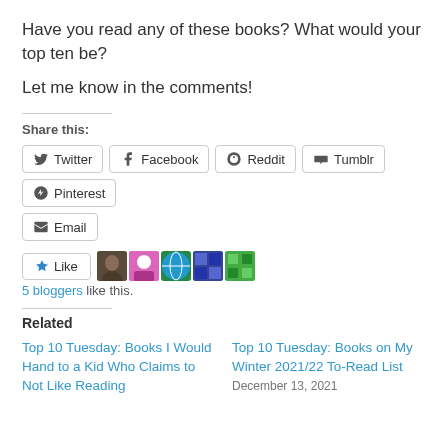Have you read any of these books? What would your top ten be?
Let me know in the comments!
Share this:
Twitter  Facebook  Reddit  Tumblr  Pinterest  Email
Like  5 bloggers like this.
Related
Top 10 Tuesday: Books I Would Hand to a Kid Who Claims to Not Like Reading
Top 10 Tuesday: Books on My Winter 2021/22 To-Read List
December 13, 2021